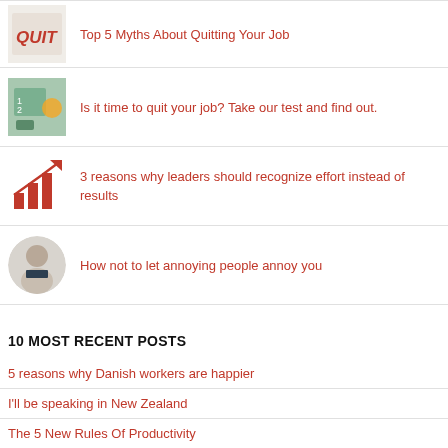[Figure (photo): Thumbnail image with QUIT text on whiteboard]
Top 5 Myths About Quitting Your Job
[Figure (illustration): Cartoon illustration of person at chalkboard with numbers]
Is it time to quit your job? Take our test and find out.
[Figure (illustration): Red bar chart with upward arrow icon]
3 reasons why leaders should recognize effort instead of results
[Figure (photo): Circular photo of a middle-aged man in suit]
How not to let annoying people annoy you
10 MOST RECENT POSTS
5 reasons why Danish workers are happier
I'll be speaking in New Zealand
The 5 New Rules Of Productivity